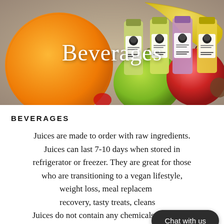[Figure (photo): Hero image of fruit (orange, green apple, red apple, banana) with juice bottles labeled with a character logo in the foreground. Text overlay reads 'Beverages' in white.]
Beverages
BEVERAGES
Juices are made to order with raw ingredients. Juices can last 7-10 days when stored in refrigerator or freezer. They are great for those who are transitioning to a vegan lifestyle, weight loss, meal replacement, recovery, tasty treats, cleans... Juices do not contain any chemicals to prolong